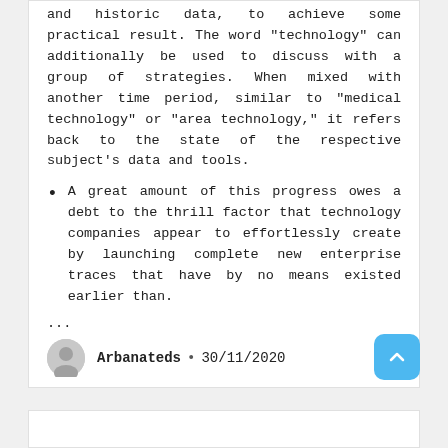and historic data, to achieve some practical result. The word “technology” can additionally be used to discuss with a group of strategies. When mixed with another time period, similar to “medical technology” or “area technology,” it refers back to the state of the respective subject’s data and tools.
A great amount of this progress owes a debt to the thrill factor that technology companies appear to effortlessly create by launching complete new enterprise traces that have by no means existed earlier than.
...
Arbanateds • 30/11/2020